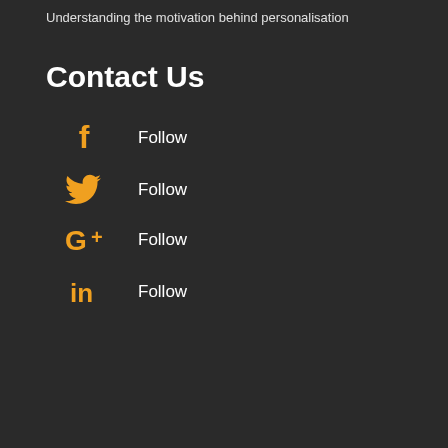Understanding the motivation behind personalisation
Contact Us
Facebook Follow
Twitter Follow
Google+ Follow
LinkedIn Follow